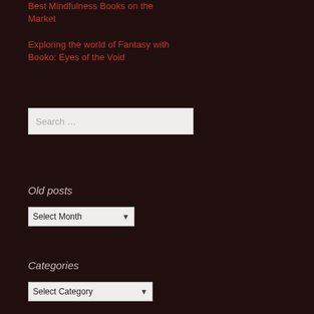Best Mindfulness Books on the Market
Exploring the world of Fantasy with Booko: Eyes of the Void
Search …
Old posts
Select Month
Categories
Select Category